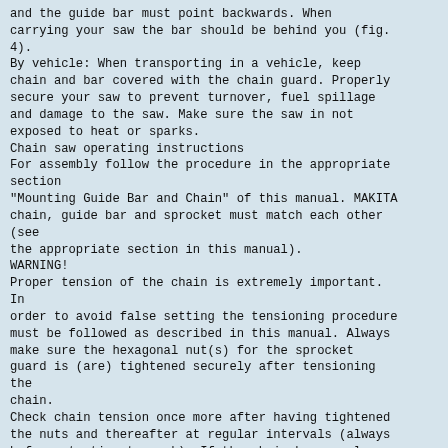and the guide bar must point backwards. When carrying your saw the bar should be behind you (fig. 4).
By vehicle: When transporting in a vehicle, keep chain and bar covered with the chain guard. Properly secure your saw to prevent turnover, fuel spillage and damage to the saw. Make sure the saw in not exposed to heat or sparks.
Chain saw operating instructions
For assembly follow the procedure in the appropriate section
"Mounting Guide Bar and Chain" of this manual. MAKITA chain, guide bar and sprocket must match each other (see
the appropriate section in this manual).
WARNING!
Proper tension of the chain is extremely important. In
order to avoid false setting the tensioning procedure must be followed as described in this manual. Always make sure the hexagonal nut(s) for the sprocket guard is (are) tightened securely after tensioning the
chain.
Check chain tension once more after having tightened the nuts and thereafter at regular intervals (always before starting to work). If the chain becomes loose while
cutting, shut off the engine and then tighten. Never try
to tighten the chain while the engine is running!
Wipe off any spilled fuel before starting your saw